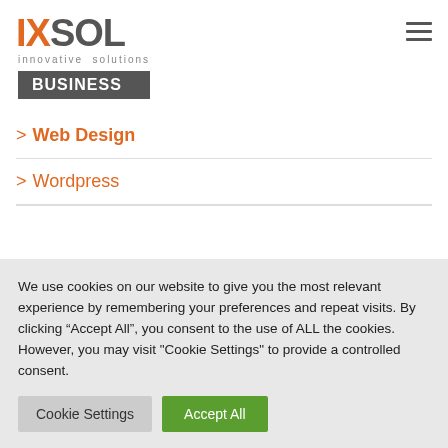[Figure (logo): IXSOL innovative solutions logo with orange IX and grey SOL text, followed by BUSINESS badge in grey box]
> Web Design
> Wordpress
We use cookies on our website to give you the most relevant experience by remembering your preferences and repeat visits. By clicking “Accept All”, you consent to the use of ALL the cookies. However, you may visit "Cookie Settings" to provide a controlled consent.
Cookie Settings | Accept All